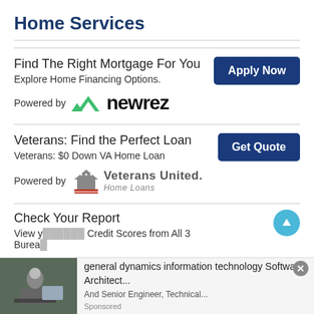Home Services
Find The Right Mortgage For You
Explore Home Financing Options.
[Figure (logo): Newrez logo with green checkmark icon and bold black 'newrez' text]
Veterans: Find the Perfect Loan
Veterans: $0 Down VA Home Loan
[Figure (logo): Veterans United Home Loans logo with house/flag icon and gray text]
Check Your Report
View y... Credit Scores from All 3 Burea...
[Figure (screenshot): Ad banner: photo of person at laptop, text reads 'general dynamics information technology Software Architect...' with Sponsored label]